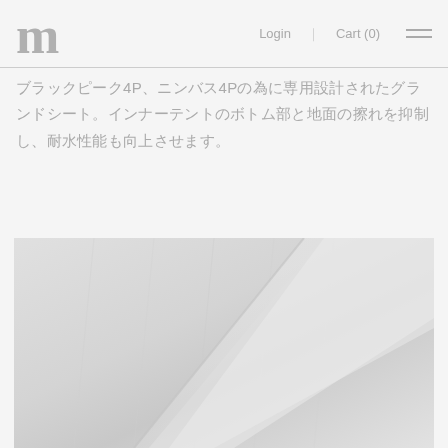m  Login | Cart (0)
ブラックピーク4P、ニンバス4Pの為に専用設計されたグランドシート。インナーテントのボトム部と地面の擦れを抑制し、耐水性能も向上させます。
[Figure (photo): Close-up photo of light grey/white fabric material with subtle diagonal fold or crease visible]